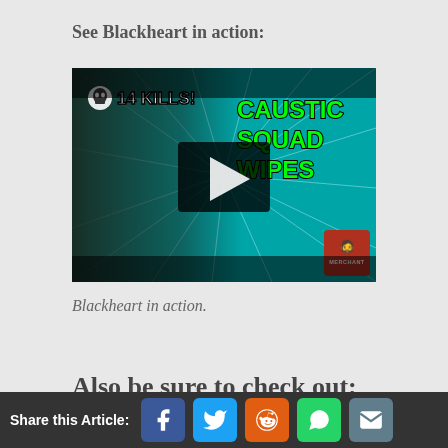See Blackheart in action:
[Figure (screenshot): YouTube/video thumbnail showing a gaming video titled '14 KILLS! CAUSTIC SQUAD WIPES' with a character in dark armor on a teal background with radial lines, a play button overlay, and a MERCHANT logo in the bottom right.]
Blackheart in action.
Also be sure to check out:
Share this Article: [Facebook] [Twitter] [Reddit] [WhatsApp] [Email]